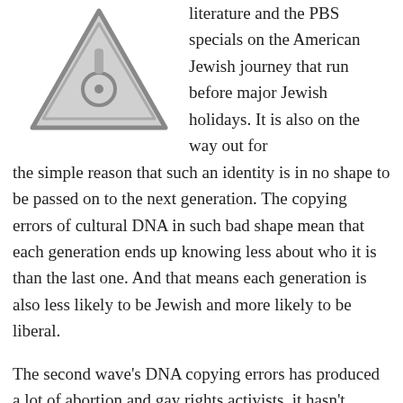[Figure (illustration): A triangular warning/caution road sign (yield or caution triangle) drawn in gray outline with a circle and dot inside, resembling a road sign icon.]
literature and the PBS specials on the American Jewish journey that run before major Jewish holidays. It is also on the way out for the simple reason that such an identity is in no shape to be passed on to the next generation. The copying errors of cultural DNA in such bad shape mean that each generation ends up knowing less about who it is than the last one. And that means each generation is also less likely to be Jewish and more likely to be liberal.
The second wave's DNA copying errors has produced a lot of abortion and gay rights activists, it hasn't produced a lot of children. Like all cultural mistakes, Liberal Judaism is wiping itself out. It leaves behind a